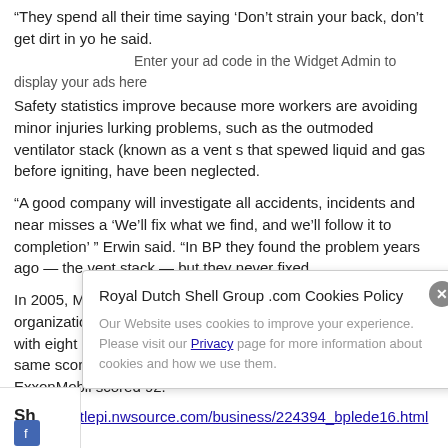“They spend all their time saying ‘Don’t strain your back, don’t get dirt in yo… he said.    Enter your ad code in the Widget Admin to display your ads here
Safety statistics improve because more workers are avoiding minor injuries… lurking problems, such as the outmoded ventilator stack (known as a vent s… that spewed liquid and gas before igniting, have been neglected.
“A good company will investigate all accidents, incidents and near misses a… ‘We’ll fix what we find, and we’ll follow it to completion’ ” Erwin said. “In BP… they found the problem years ago — the vent stack — but they never fixed…
In 2005, Management and Excellence, a Madrid, Spain-based organization… rates companies on their ethics, compared BP with eight other large petrole… companies. It rated BP 69 — the same score as Mexico’s Pemex in the are… safety and health. ExxonMobil scored 92.
http://seattlepi.nwsource.com/business/224394_bplede16.html
Sh…
Royal Dutch Shell Group .com Cookies Policy
Our Website uses cookies to improve your experience. Please visit our Privacy page for more information about cookies and how we use them.